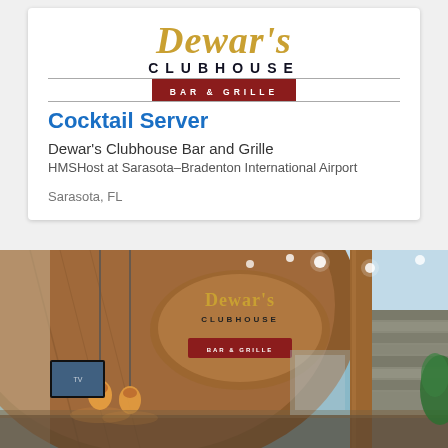[Figure (logo): Dewar's Clubhouse Bar & Grille logo with gold script lettering and dark red banner]
Cocktail Server
Dewar's Clubhouse Bar and Grille
HMSHost at Sarasota–Bradenton International Airport
Sarasota, FL
[Figure (photo): Interior photo of Dewar's Clubhouse Bar and Grille restaurant showing wooden curved bar facade with logo signage, pendant lights, stone wall, and airport concourse]